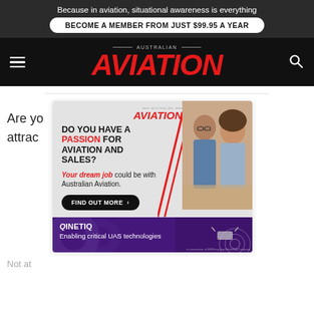Because in aviation, situational awareness is everything
BECOME A MEMBER FROM JUST $99.95 A YEAR
[Figure (logo): Australian Aviation logo in the navigation bar]
Are yo... attrac...
[Figure (infographic): Australian Aviation job advertisement: DO YOU HAVE A PASSION FOR AVIATION AND SALES? Your dream job could be with Australian Aviation. FIND OUT MORE button. Shows two professionals in a meeting.]
[Figure (infographic): QinetiQ advertisement strip: Enabling critical UAS technologies, with drone/UAS imagery on purple background]
Not at...